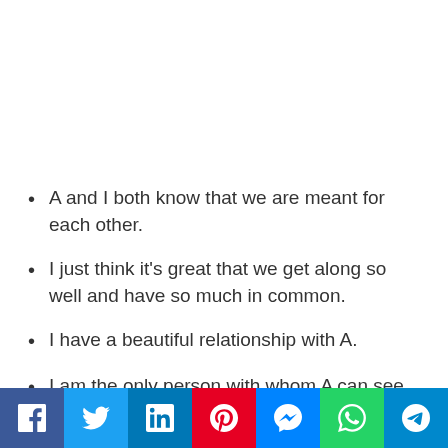A and I both know that we are meant for each other.
I just think it's great that we get along so well and have so much in common.
I have a beautiful relationship with A.
I am the only person with whom A can see his (her) future.
The chemistry between us was wonderful right from the start.
The love between the two of us is getting stronger and